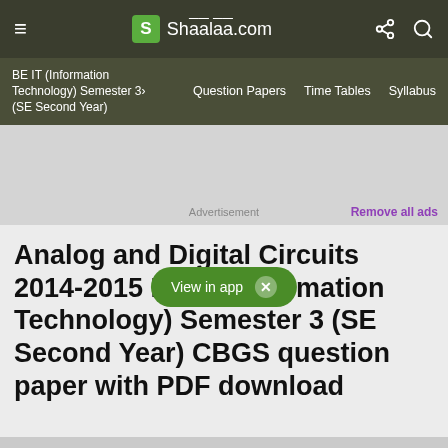Shaalaa.com
BE IT (Information Technology) Semester 3> (SE Second Year) | Question Papers | Time Tables | Syllabus
[Figure (screenshot): Advertisement placeholder banner]
Advertisement  Remove all ads
Analog and Digital Circuits 2014-2015 BE IT (Information Technology) Semester 3 (SE Second Year) CBGS question paper with PDF download
[Figure (other): View in app button overlay]